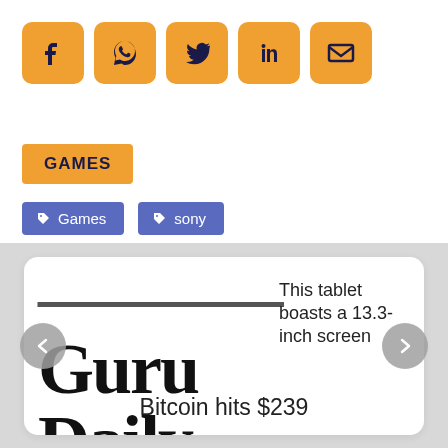[Figure (infographic): Row of 5 social media sharing icon buttons: Facebook, WhatsApp, Twitter, LinkedIn, Email — orange/yellow rounded square buttons with dark blue icons]
GAMES
Games
sony
[Figure (screenshot): Bottom carousel/slider section on grey background showing a white card with large serif text 'Guru Daily...' partially visible, overlaid text 'This tablet boasts a 13.3-inch screen' and 'Bitcoin hits $239', with left and right navigation arrow buttons]